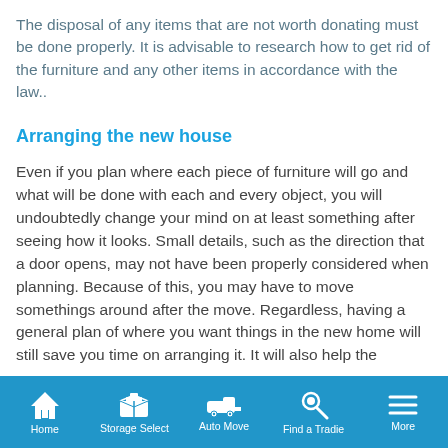The disposal of any items that are not worth donating must be done properly. It is advisable to research how to get rid of the furniture and any other items in accordance with the law..
Arranging the new house
Even if you plan where each piece of furniture will go and what will be done with each and every object, you will undoubtedly change your mind on at least something after seeing how it looks. Small details, such as the direction that a door opens, may not have been properly considered when planning. Because of this, you may have to move somethings around after the move. Regardless, having a general plan of where you want things in the new home will still save you time on arranging it. It will also help the
Home  Storage Select  Auto Move  Find a Tradie  More